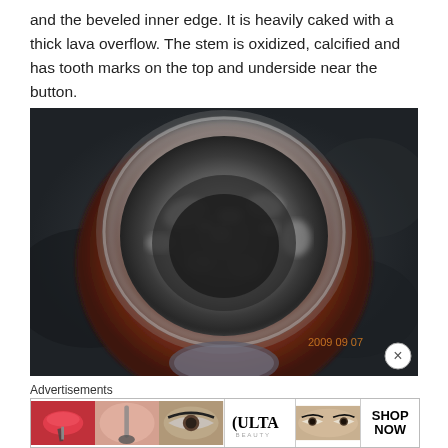and the beveled inner edge. It is heavily caked with a thick lava overflow. The stem is oxidized, calcified and has tooth marks on the top and underside near the button.
[Figure (photo): Close-up photograph of a tobacco pipe bowl viewed from above, showing a darkened, heavily caked interior with lava overflow. The bowl is made of dark reddish-brown briar wood. A timestamp reading '2009 09 07' appears in orange in the lower right. At the bottom edge, the tip of the pipe stem is partially visible.]
Advertisements
[Figure (photo): Advertisement banner for ULTA beauty, showing a strip of beauty/makeup images: red lips with brush, face with makeup brush, eye with dramatic makeup, ULTA logo, close-up of smoky eyes, with a 'SHOP NOW' call to action on the right.]